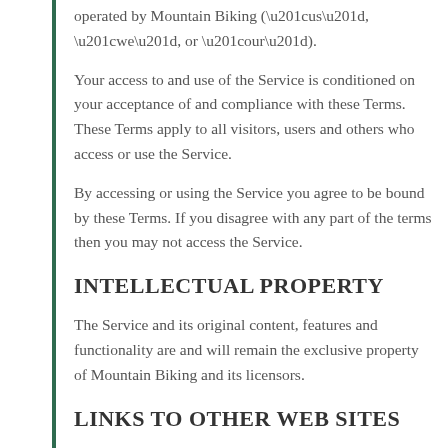operated by Mountain Biking (“us”, “we”, or “our”).
Your access to and use of the Service is conditioned on your acceptance of and compliance with these Terms. These Terms apply to all visitors, users and others who access or use the Service.
By accessing or using the Service you agree to be bound by these Terms. If you disagree with any part of the terms then you may not access the Service.
INTELLECTUAL PROPERTY
The Service and its original content, features and functionality are and will remain the exclusive property of Mountain Biking and its licensors.
LINKS TO OTHER WEB SITES
Our Service may contain links to third-party web sites or